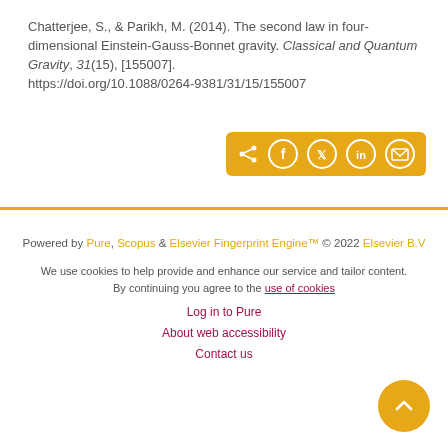Chatterjee, S., & Parikh, M. (2014). The second law in four-dimensional Einstein-Gauss-Bonnet gravity. Classical and Quantum Gravity, 31(15), [155007]. https://doi.org/10.1088/0264-9381/31/15/155007
[Figure (other): Social share toolbar with orange background containing share, Facebook, Twitter, LinkedIn, and email icons]
Powered by Pure, Scopus & Elsevier Fingerprint Engine™ © 2022 Elsevier B.V
We use cookies to help provide and enhance our service and tailor content. By continuing you agree to the use of cookies
Log in to Pure
About web accessibility
Contact us